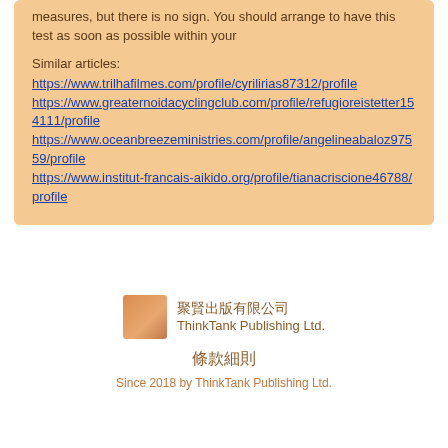measures, but there is no sign. You should arrange to have this test as soon as possible within your
Similar articles:
https://www.trilhafilmes.com/profile/cyrilirias87312/profile https://www.greaternoidacyclingclub.com/profile/refugioreistetter154111/profile https://www.oceanbreezeministries.com/profile/angelineabaloz97559/profile https://www.institut-francais-aikido.org/profile/tianacriscione46788/profile
[Figure (logo): ThinkTank Publishing Ltd. logo - orange square with Chinese and English text]
條款細則
Since 2018 by ThinkTank Publishing Ltd.